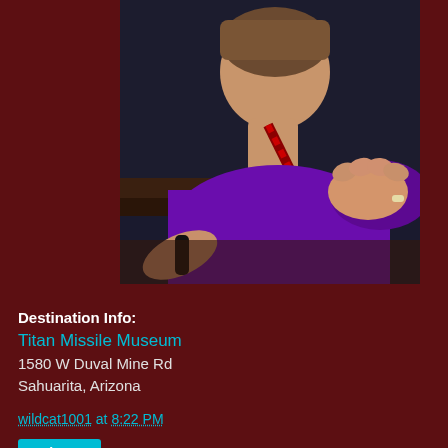[Figure (photo): Photo of a person from behind/side, wearing a purple shirt and a red/black lanyard, with a hand on their shoulder. Taken in a dark indoor setting with a bright light visible near the top.]
Destination Info:
Titan Missile Museum
1580 W Duval Mine Rd
Sahuarita, Arizona
wildcat1001 at 8:22 PM
Share